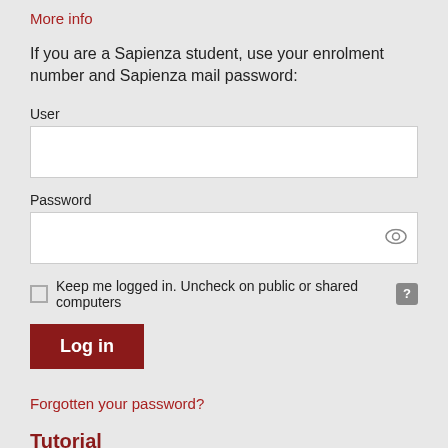More info
If you are a Sapienza student, use your enrolment number and Sapienza mail password:
User
Password
Keep me logged in. Uncheck on public or shared computers
Log in
Forgotten your password?
Tutorial
[Figure (screenshot): Video thumbnail showing SBS logo and text 'Autenticazione nel c...' with subtitle 'da SebnoYou']